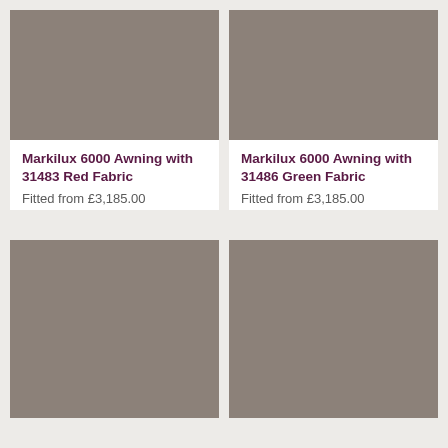[Figure (photo): Grey/taupe colored awning fabric swatch for Markilux 6000 with 31483 Red Fabric]
Markilux 6000 Awning with 31483 Red Fabric
Fitted from £3,185.00
[Figure (photo): Grey/taupe colored awning fabric swatch for Markilux 6000 with 31486 Green Fabric]
Markilux 6000 Awning with 31486 Green Fabric
Fitted from £3,185.00
[Figure (photo): Grey/taupe colored awning fabric swatch - bottom left product]
[Figure (photo): Grey/taupe colored awning fabric swatch - bottom right product]